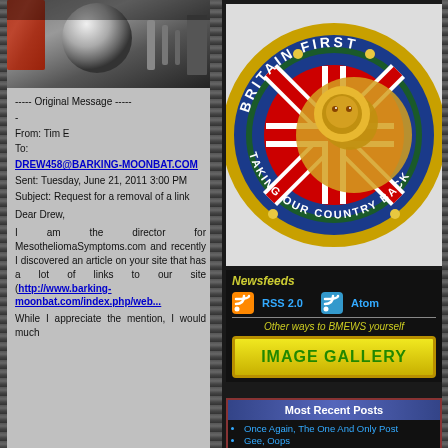[Figure (photo): Partial screenshot of a webpage showing a metallic sphere and red object in top-left photo area]
----- Original Message ----
-
From: Tim E
To:
DREW458@BARKING-MOONBAT.COM
Sent: Tuesday, June 21, 2011 3:00 PM
Subject: Request for a removal of a link

Dear Drew,

I am the director for MesotheliomaSymptoms.com and recently I discovered an article on your site that has a lot of links to our site (http://www.barking-moonbat.com/index.php/web...
While I appreciate the mention, I would much
[Figure (logo): Britain First circular logo with Union Jack and lion, text reading BRITAIN FIRST TAKING OUR COUNTRY BACK]
Newsfeeds
RSS 2.0    Atom
Other ways to BMEWS yourself
[Figure (other): IMAGE GALLERY button in green text on yellow background]
Most Recent Posts
Once Again, The One And Only Post
Gee, Oops